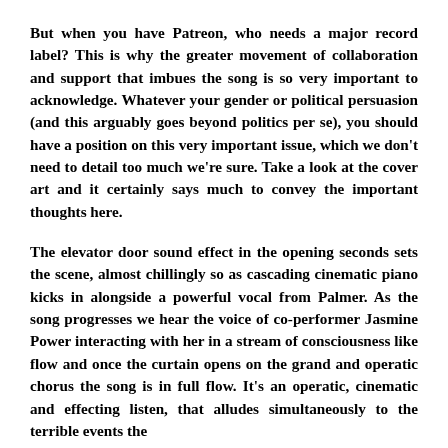But when you have Patreon, who needs a major record label? This is why the greater movement of collaboration and support that imbues the song is so very important to acknowledge. Whatever your gender or political persuasion (and this arguably goes beyond politics per se), you should have a position on this very important issue, which we don't need to detail too much we're sure. Take a look at the cover art and it certainly says much to convey the important thoughts here.
The elevator door sound effect in the opening seconds sets the scene, almost chillingly so as cascading cinematic piano kicks in alongside a powerful vocal from Palmer. As the song progresses we hear the voice of co-performer Jasmine Power interacting with her in a stream of consciousness like flow and once the curtain opens on the grand and operatic chorus the song is in full flow. It's an operatic, cinematic and effecting listen, that alludes simultaneously to the terrible events the